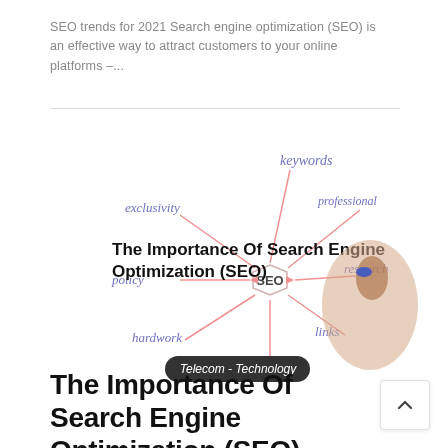SEO trends for 2021 Search engine optimization (SEO) is an effective way to attract customers to your online platforms –...
[Figure (illustration): Diagram showing SEO concept with a hand drawing a mind map. Central hexagon labeled 'SEO' with lines connecting to words: keywords, exclusivity, professional, policy, research, hardwork, links, optimization. Overlaid bold text: 'The Importance Of Search Engine Optimization (SEO)'. Badge label: 'Telecom - Technology'.]
The Importance Of Search Engine Optimization (SEO)